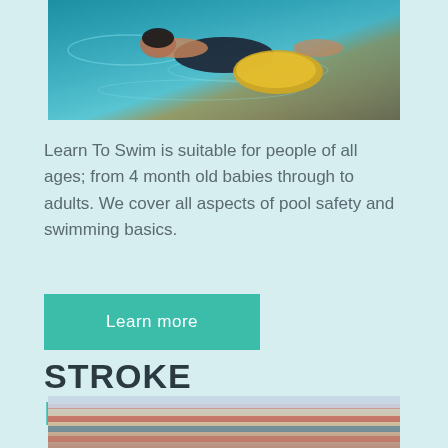[Figure (photo): Aerial view of a person swimming in a pool, wearing dark swimsuit, holding a yellow kickboard in turquoise water]
Learn To Swim is suitable for people of all ages; from 4 month old babies through to adults. We cover all aspects of pool safety and swimming basics.
Learn more
STROKE DEVELOPMENT
[Figure (photo): Partial view of a swimming pool facility with bleachers/seating in red and blue colors]